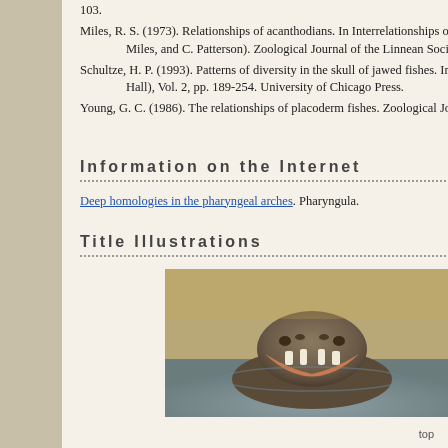Miles, R. S. (1973). Relationships of acanthodians. In Interrelationships of fishes (ed. P. H. Greenwood, R. S. Miles, and C. Patterson). Zoological Journal of the Linnean Society, Supplement 1, 53, 63-103.
Schultze, H. P. (1993). Patterns of diversity in the skull of jawed fishes. In The skull (ed. J. Hanken and B. K. Hall), Vol. 2, pp. 189-254. University of Chicago Press.
Young, G. C. (1986). The relationships of placoderm fishes. Zoological Journal of the Linnean Society, 88, 1-57.
Information on the Internet
Deep homologies in the pharyngeal arches. Pharyngula.
Title Illustrations
[Figure (photo): Photograph of a hippopotamus with open mouth, emerging from water, showing its large jaws and teeth.]